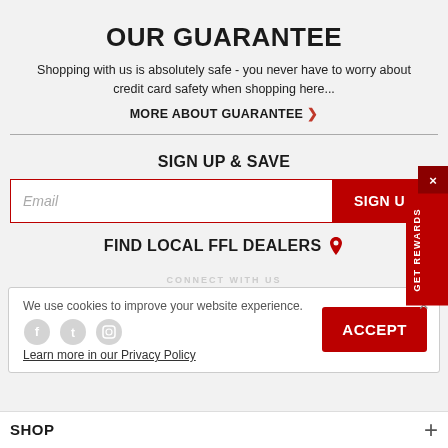OUR GUARANTEE
Shopping with us is absolutely safe - you never have to worry about credit card safety when shopping here...
MORE ABOUT GUARANTEE >
SIGN UP & SAVE
Email
SIGN UP
FIND LOCAL FFL DEALERS
CONNECT WITH US
We use cookies to improve your website experience.
Learn more in our Privacy Policy
ACCEPT
SHOP